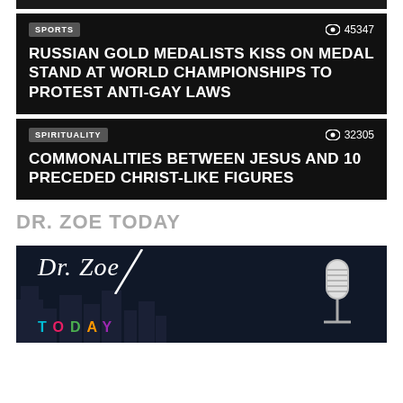[Figure (screenshot): Top partial dark card image, cropped at top]
SPORTS | 45347 views | RUSSIAN GOLD MEDALISTS KISS ON MEDAL STAND AT WORLD CHAMPIONSHIPS TO PROTEST ANTI-GAY LAWS
SPIRITUALITY | 32305 views | COMMONALITIES BETWEEN JESUS AND 10 PRECEDED CHRIST-LIKE FIGURES
DR. ZOE TODAY
[Figure (photo): Dr. Zoe Today logo image with microphone on dark city background]